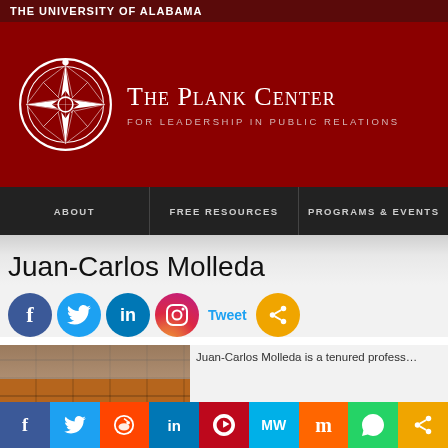THE UNIVERSITY OF ALABAMA
[Figure (logo): The Plank Center for Leadership in Public Relations logo with compass rose emblem on dark red banner]
ABOUT | FREE RESOURCES | PROGRAMS & EVENTS
Juan-Carlos Molleda
[Figure (infographic): Social media share icons: Facebook, Twitter, LinkedIn, Instagram, Tweet button, share button]
[Figure (photo): Partial photo of building exterior with brick]
Juan-Carlos Molleda is a tenured profess...
[Figure (infographic): Bottom share bar with Facebook, Twitter, Reddit, LinkedIn, Pinterest, MeWe, Mix, WhatsApp, Share buttons]